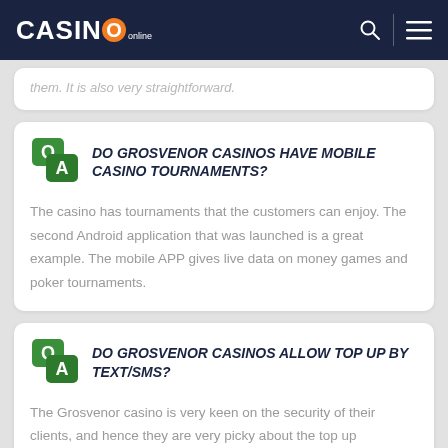CASINO online
them. It is also very straightforward.
DO GROSVENOR CASINOS HAVE MOBILE CASINO TOURNAMENTS?
The casino has tournaments that the customers can enjoy. The second Android application that was launched is a great example. The mobile APP gives live data on money games and poker tournaments.
DO GROSVENOR CASINOS ALLOW TOP UP BY TEXT/SMS?
The Grosvenor casino is very keen on the security of their clients, and hence they are very picky about the top up